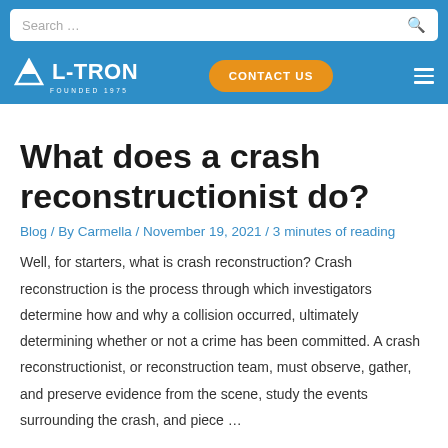Search …
[Figure (logo): L-TRON logo with mountain/peak icon, FOUNDED 1975, on blue header background with CONTACT US button and hamburger menu]
What does a crash reconstructionist do?
Blog / By Carmella / November 19, 2021 / 3 minutes of reading
Well, for starters, what is crash reconstruction? Crash reconstruction is the process through which investigators determine how and why a collision occurred, ultimately determining whether or not a crime has been committed. A crash reconstructionist, or reconstruction team, must observe, gather, and preserve evidence from the scene, study the events surrounding the crash, and piece …